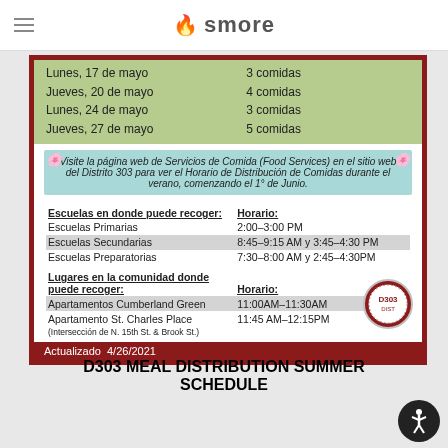smore
[Figure (infographic): D303 Meal Distribution schedule document in Spanish, showing dates and number of meals, a notice about visiting the Food Services webpage, pickup locations and schedules, and community locations. Updated 4/26/2021.]
D303 MEAL DISTRIBUTION SUMMER SCHEDULE